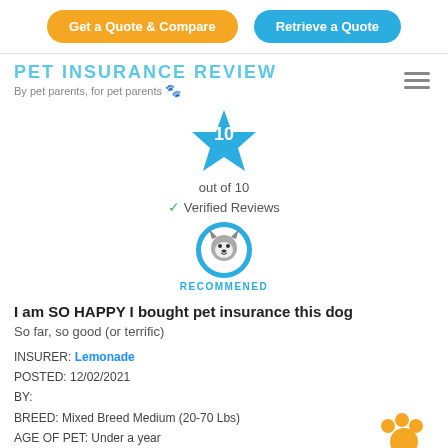[Figure (other): Two buttons: orange 'Get a Quote & Compare' and blue 'Retrieve a Quote']
PET INSURANCE REVIEW
By pet parents, for pet parents 🐾
[Figure (infographic): Blue star badge with number 10, text 'out of 10', green checkmark 'Verified Reviews', circular dog icon badge with text 'RECOMMENED']
I am SO HAPPY I bought pet insurance this dog
So far, so good (or terrific)
INSURER: Lemonade
POSTED: 12/02/2021
BY:
BREED: Mixed Breed Medium (20-70 Lbs)
AGE OF PET: Under a year